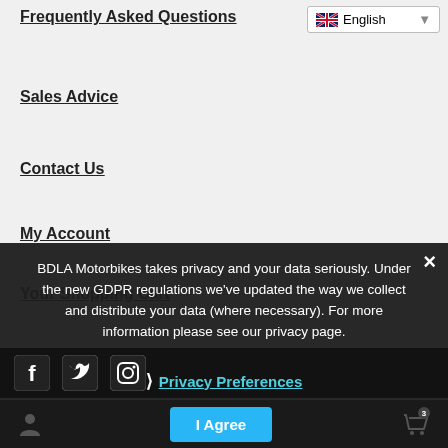Frequently Asked Questions
Sales Advice
Contact Us
My Account
Your Shopping Cart
Delivery & Returns
Price Ma...
Klarna...
BDLA Motorbikes takes privacy and your data seriously. Under the new GDPR regulations we've updated the way we collect and distribute your data (where necessary). For more information please see our privacy page.
Privacy Preferences
I Agree